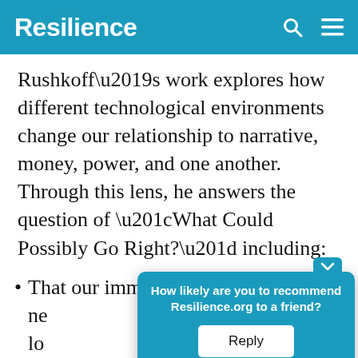Resilience
Rushkoff’s work explores how different technological environments change our relationship to narrative, money, power, and one another. Through this lens, he answers the question of “What Could Possibly Go Right?” including:
That our immersion in online ne[tworks is making] us lo[ng for more fo]cusing ov[er...]
How likely are you to recommend Resilience.org to a friend?
Reply